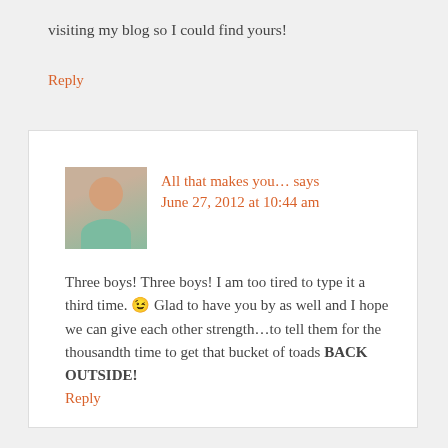visiting my blog so I could find yours!
Reply
All that makes you... says June 27, 2012 at 10:44 am
Three boys! Three boys! I am too tired to type it a third time. 😉 Glad to have you by as well and I hope we can give each other strength…to tell them for the thousandth time to get that bucket of toads BACK OUTSIDE!
Reply